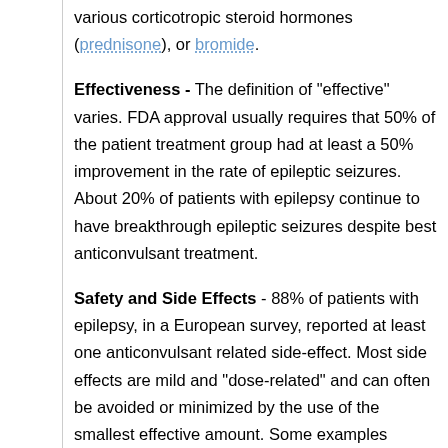various corticotropic steroid hormones (prednisone), or bromide.
Effectiveness - The definition of "effective" varies. FDA approval usually requires that 50% of the patient treatment group had at least a 50% improvement in the rate of epileptic seizures. About 20% of patients with epilepsy continue to have breakthrough epileptic seizures despite best anticonvulsant treatment.
Safety and Side Effects - 88% of patients with epilepsy, in a European survey, reported at least one anticonvulsant related side-effect. Most side effects are mild and "dose-related" and can often be avoided or minimized by the use of the smallest effective amount. Some examples include mood